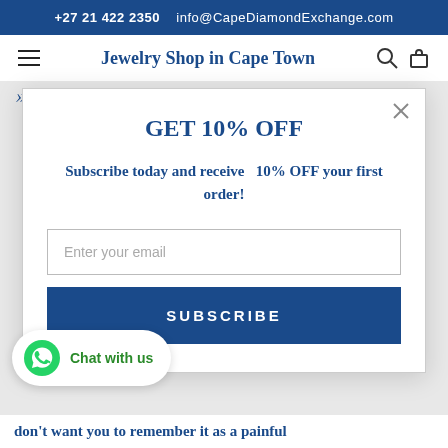+27 21 422 2350   info@CapeDiamondExchange.com
Jewelry Shop in Cape Town
»
GET 10% OFF
Subscribe today and receive  10% OFF your first order!
Enter your email
SUBSCRIBE
Chat with us
don't want you to remember it as a painful